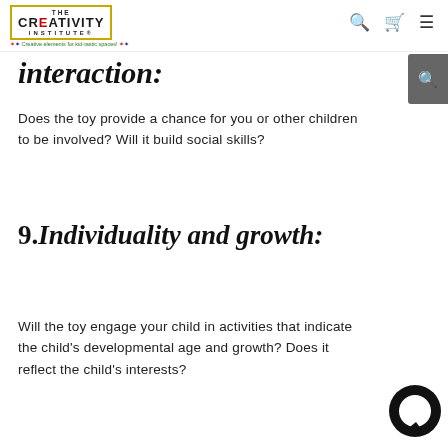The Creativity Institute — Creative elements for kid-tastic spaces!
interaction:
Does the toy provide a chance for you or other children to be involved? Will it build social skills?
9.Individuality and growth:
Will the toy engage your child in activities that indicate the child's developmental age and growth? Does it reflect the child's interests?